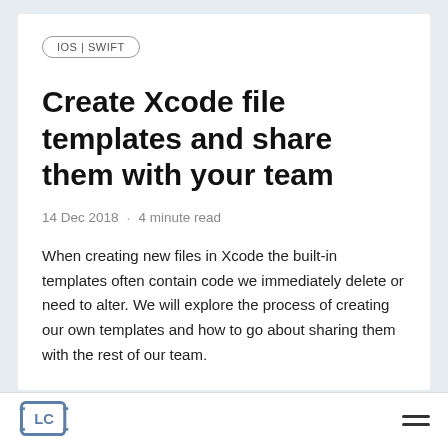IOS | SWIFT
Create Xcode file templates and share them with your team
14 Dec 2018 · 4 minute read
When creating new files in Xcode the built-in templates often contain code we immediately delete or need to alter. We will explore the process of creating our own templates and how to go about sharing them with the rest of our team.